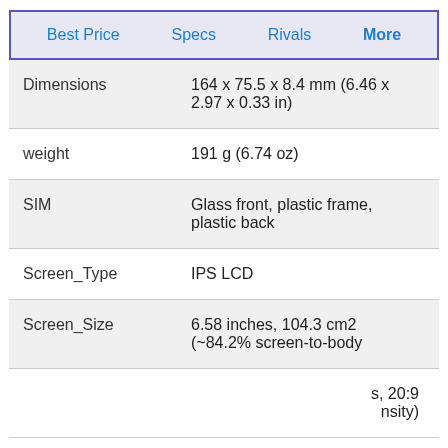Best Price   Specs   Rivals   More
| Spec | Value |
| --- | --- |
| Dimensions | 164 x 75.5 x 8.4 mm (6.46 x 2.97 x 0.33 in) |
| weight | 191 g (6.74 oz) |
| SIM | Glass front, plastic frame, plastic back |
| Screen_Type | IPS LCD |
| Screen_Size | 6.58 inches, 104.3 cm2 (~84.2% screen-to-body |
|  | s, 20:9
nsity) |